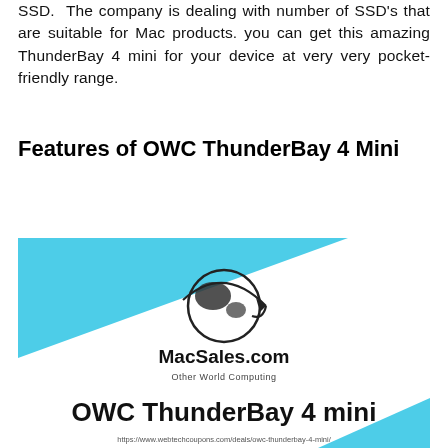SSD. The company is dealing with number of SSD's that are suitable for Mac products. you can get this amazing ThunderBay 4 mini for your device at very very pocket-friendly range.
Features of OWC ThunderBay 4 Mini
[Figure (logo): MacSales.com Other World Computing logo and OWC ThunderBay 4 mini product image with cyan/white background and URL https://www.webtechcoupons.com/deals/owc-thunderbay-4-mini/]